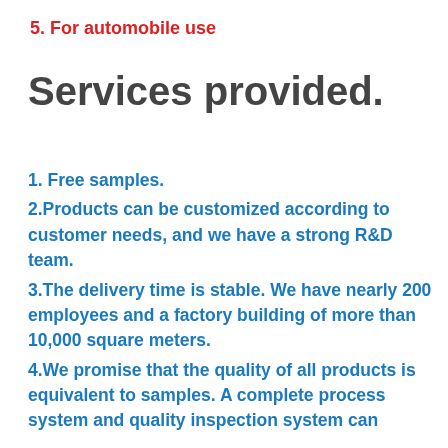5. For automobile use
Services provided.
1. Free samples.
2.Products can be customized according to customer needs, and we have a strong R&D team.
3.The delivery time is stable. We have nearly 200 employees and a factory building of more than 10,000 square meters.
4.We promise that the quality of all products is equivalent to samples. A complete process system and quality inspection system can